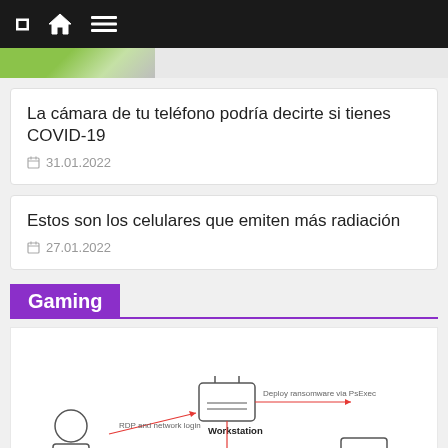Navigation bar with home and menu icons
[Figure (photo): Partial cropped image strip showing green and grey tones at top of page]
La cámara de tu teléfono podría decirte si tienes COVID-19
31.01.2022
Estos son los celulares que emiten más radiación
27.01.2022
Gaming
[Figure (flowchart): Network attack diagram showing a person with a laptop, a workstation in the center, an arrow labeled 'RDP and network login' going right, an arrow labeled 'Deploy ransomware via PsExec' going right from workstation, an arrow labeled 'Deploy ransomware via GPO' going down from workstation, and a device icon at bottom right with a scroll-up arrow.]